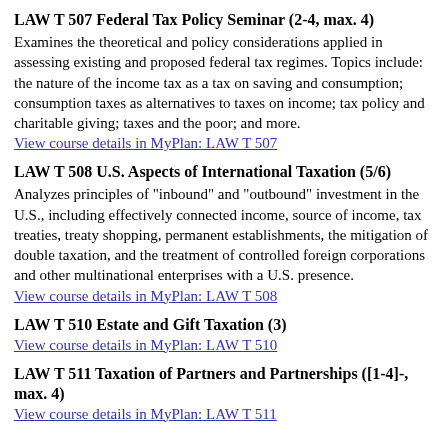LAW T 507 Federal Tax Policy Seminar (2-4, max. 4)
Examines the theoretical and policy considerations applied in assessing existing and proposed federal tax regimes. Topics include: the nature of the income tax as a tax on saving and consumption; consumption taxes as alternatives to taxes on income; tax policy and charitable giving; taxes and the poor; and more.
View course details in MyPlan: LAW T 507
LAW T 508 U.S. Aspects of International Taxation (5/6)
Analyzes principles of "inbound" and "outbound" investment in the U.S., including effectively connected income, source of income, tax treaties, treaty shopping, permanent establishments, the mitigation of double taxation, and the treatment of controlled foreign corporations and other multinational enterprises with a U.S. presence.
View course details in MyPlan: LAW T 508
LAW T 510 Estate and Gift Taxation (3)
View course details in MyPlan: LAW T 510
LAW T 511 Taxation of Partners and Partnerships ([1-4]-, max. 4)
View course details in MyPlan: LAW T 511